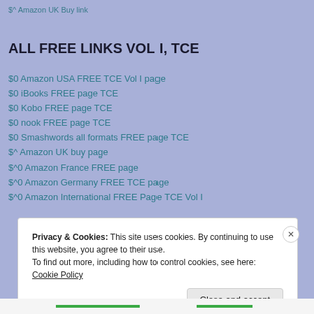$^ Amazon UK Buy link
ALL FREE LINKS VOL I, TCE
$0 Amazon USA FREE TCE Vol I page
$0 iBooks FREE page TCE
$0 Kobo FREE page TCE
$0 nook FREE page TCE
$0 Smashwords all formats FREE page TCE
$^ Amazon UK buy page
$^0 Amazon France FREE page
$^0 Amazon Germany FREE TCE page
$^0 Amazon International FREE Page TCE Vol I
Privacy & Cookies: This site uses cookies. By continuing to use this website, you agree to their use.
To find out more, including how to control cookies, see here: Cookie Policy
Close and accept